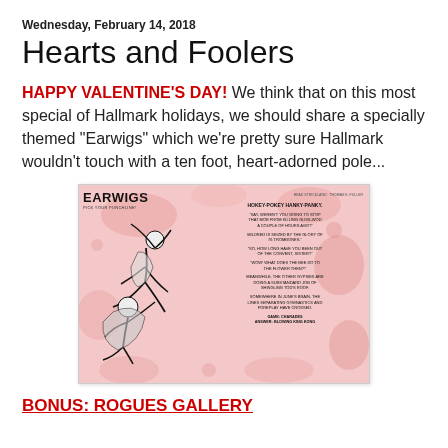Wednesday, February 14, 2018
Hearts and Foolers
HAPPY VALENTINE'S DAY! We think that on this most special of Hallmark holidays, we should share a specially themed "Earwigs" which we're pretty sure Hallmark wouldn't touch with a ten foot, heart-adorned pole...
[Figure (illustration): An Earwigs comic panel on a pink floral background. Left side shows a black-and-white illustration of two figures. Right side has text: HOKEY-POKEY HANKY-PANKY with multiple punchline options and a game section at the bottom.]
BONUS: ROGUES GALLERY